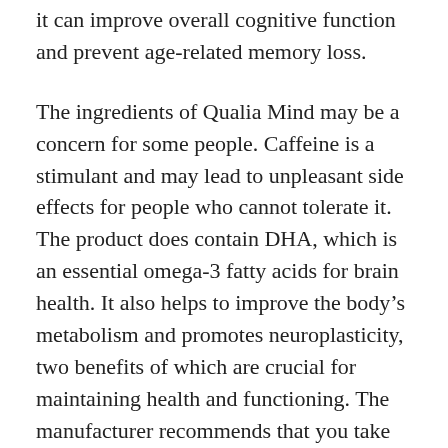it can improve overall cognitive function and prevent age-related memory loss.
The ingredients of Qualia Mind may be a concern for some people. Caffeine is a stimulant and may lead to unpleasant side effects for people who cannot tolerate it. The product does contain DHA, which is an essential omega-3 fatty acids for brain health. It also helps to improve the body's metabolism and promotes neuroplasticity, two benefits of which are crucial for maintaining health and functioning. The manufacturer recommends that you take seven tablets in the morning.
In addition to caffeine, Qualia Mind also contains a fat-soluble steroid called Ginkgo biloba leaf extract. This nootropic works by